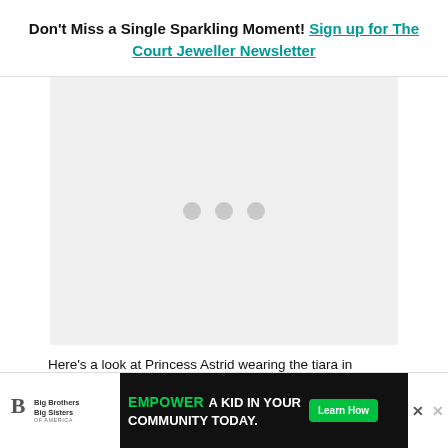Don't Miss a Single Sparkling Moment! Sign up for The Court Jeweller Newsletter
[Figure (photo): Image placeholder with three grey dots in the center, light grey background rectangle]
Here's a look at Princess Astrid wearing the tiara in
[Figure (infographic): Advertisement banner: Big Brothers Big Sisters logo on left, green and black ad panel reading EMPOWER A KID IN YOUR COMMUNITY TODAY. with a Learn How button and close X buttons]